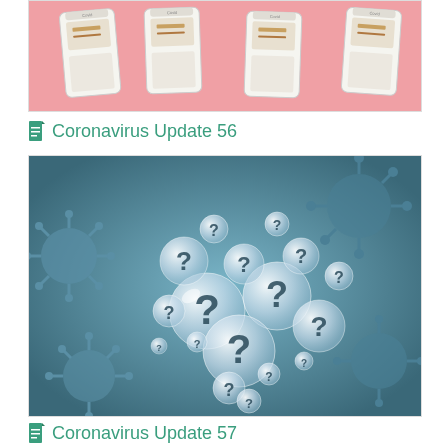[Figure (photo): Row of COVID-19 rapid antigen test strips on a pink background]
Coronavirus Update 56
[Figure (photo): Blue-tinted microscopic coronavirus particles in background with transparent spherical bubbles containing question marks in foreground]
Coronavirus Update 57